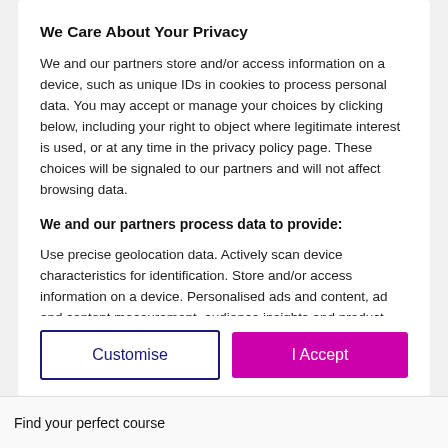We Care About Your Privacy
We and our partners store and/or access information on a device, such as unique IDs in cookies to process personal data. You may accept or manage your choices by clicking below, including your right to object where legitimate interest is used, or at any time in the privacy policy page. These choices will be signaled to our partners and will not affect browsing data.
We and our partners process data to provide:
Use precise geolocation data. Actively scan device characteristics for identification. Store and/or access information on a device. Personalised ads and content, ad and content measurement, audience insights and product development.
List of Partners (Vendors)
Customise
I Accept
Find your perfect course